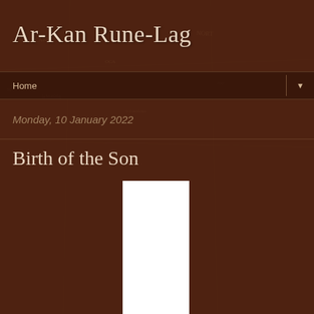Ar-Kan Rune-Lag
Home ▼
Monday, 10 January 2022
Birth of the Son
[Figure (other): White rectangular image/photograph placeholder, partially visible, on dark brown textured background]